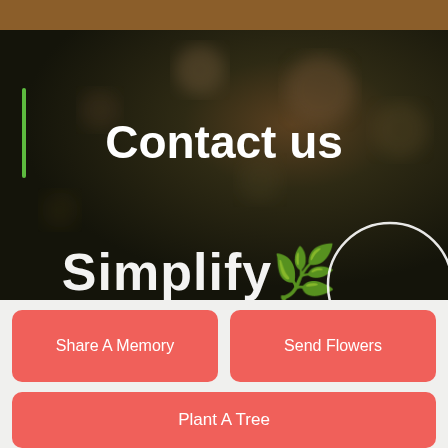Contact us
[Figure (logo): Simplify logo with leaf icon inside a white circle outline, shown on dark background]
Share A Memory
Send Flowers
Plant A Tree